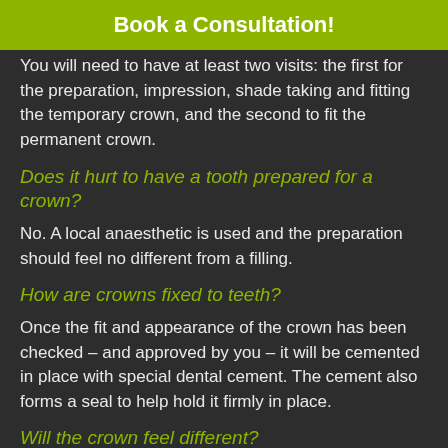Book a Consultation!
You will need to have at least two visits: the first for the preparation, impression, shade taking and fitting the temporary crown, and the second to fit the permanent crown.
Does it hurt to have a tooth prepared for a crown?
No. A local anaesthetic is used and the preparation should feel no different from a filling.
How are crowns fixed to teeth?
Once the fit and appearance of the crown has been checked – and approved by you – it will be cemented in place with special dental cement. The cement also forms a seal to help hold it firmly in place.
Will the crown feel different?